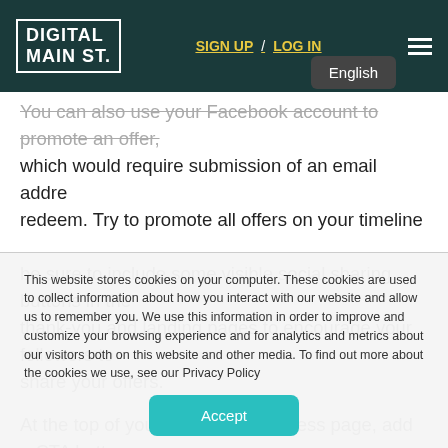DIGITAL MAIN ST. | SIGN UP / LOG IN
You can also use your Facebook account to promote an offer, which would require submission of an email address to redeem. Try to promote all offers on your timeline and be sure to include some visible social sharing buttons in the thank-you and landing pages to encourage your followers to share your offers.
At the top of your Facebook business page, add a CTA button and link it to your landing page. Using Pinterest to promote
This website stores cookies on your computer. These cookies are used to collect information about how you interact with our website and allow us to remember you. We use this information in order to improve and customize your browsing experience and for analytics and metrics about our visitors both on this website and other media. To find out more about the cookies we use, see our Privacy Policy
Accept